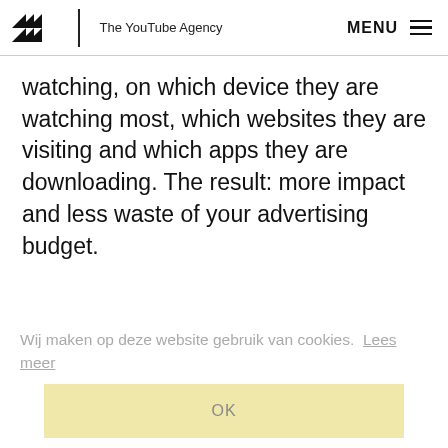The YouTube Agency — MENU
watching, on which device they are watching most, which websites they are visiting and which apps they are downloading. The result: more impact and less waste of your advertising budget.
Wij maken op deze website gebruik van cookies.  Lees meer
OK